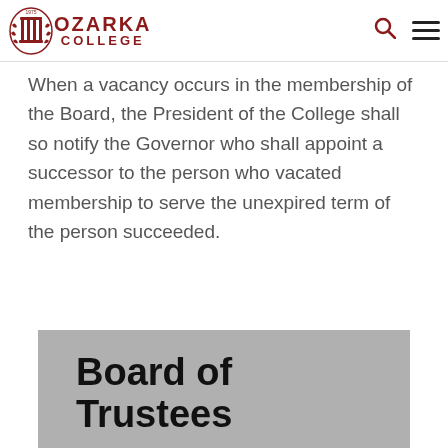Ozarka College
When a vacancy occurs in the membership of the Board, the President of the College shall so notify the Governor who shall appoint a successor to the person who vacated membership to serve the unexpired term of the person succeeded.
Board of Trustees